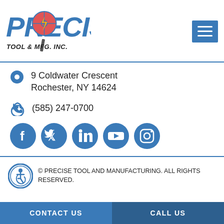[Figure (logo): Precise Tool & Mfg. Inc. logo with stylized text and crosshair/tool graphic]
9 Coldwater Crescent
Rochester, NY 14624
(585) 247-0700
[Figure (infographic): Social media icons: Facebook, Twitter, LinkedIn, YouTube, Instagram — all in blue circles]
© PRECISE TOOL AND MANUFACTURING. ALL RIGHTS RESERVED.
CONTACT US
CALL US